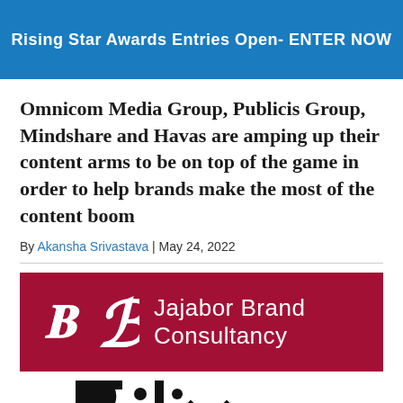Rising Star Awards Entries Open- ENTER NOW
Omnicom Media Group, Publicis Group, Mindshare and Havas are amping up their content arms to be on top of the game in order to help brands make the most of the content boom
By Akansha Srivastava | May 24, 2022
[Figure (logo): Jajabor Brand Consultancy logo — crimson red background with a stylized B symbol and the text 'Jajabor Brand Consultancy' in white]
[Figure (logo): Blix logo in large bold black text on white background, partially visible]